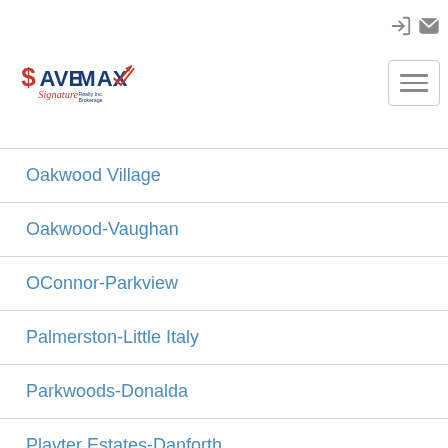[Figure (logo): Save Max Signature Realty Inc. Brokerage logo with dollar sign, red arrow and blue text]
Oakwood Village
Oakwood-Vaughan
OConnor-Parkview
Palmerston-Little Italy
Parkwoods-Donalda
Playter Estates-Danforth
Pleasant View